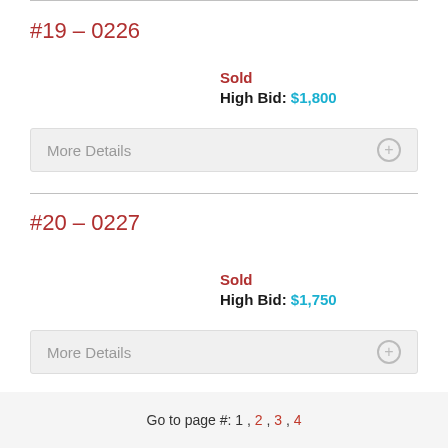#19 – 0226
Sold
High Bid: $1,800
More Details
#20 – 0227
Sold
High Bid: $1,750
More Details
Go to page #: 1 , 2 , 3 , 4